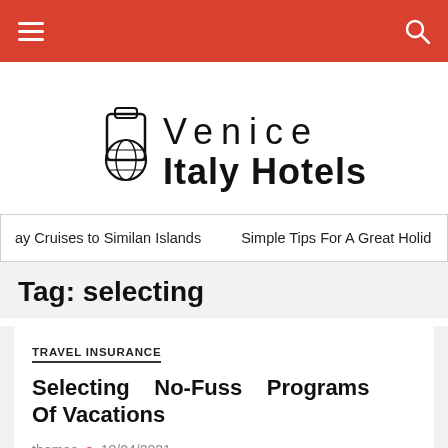Venice Italy Hotels — navigation bar
[Figure (logo): Venice Italy Hotels logo — suitcase and globe icon with text 'Venice Italy Hotels']
ay Cruises to Similan Islands   Simple Tips For A Great Holid
Tag: selecting
TRAVEL INSURANCE
Selecting No-Fuss Programs Of Vacations
thomas • 18/04/2021